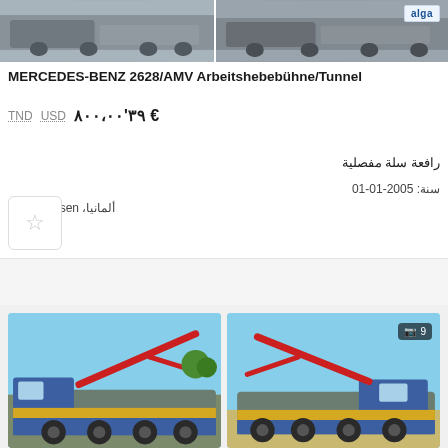[Figure (photo): Two truck photos at top of listing — left shows a gray articulated crane/platform truck, right shows similar truck with alga logo badge]
MERCEDES-BENZ 2628/AMV Arbeitshebebühne/Tunnel
€ ٣٩'٨٠٠،٠٠  USD  TND
رافعة سلة مفصلية
سنة: 2005-01-01
ألمانيا، Sittensen
[Figure (photo): Two photos of a blue-and-yellow Mercedes-Benz truck with red concrete pump boom, parked outdoors. Right photo has a badge showing camera icon and '9'.]